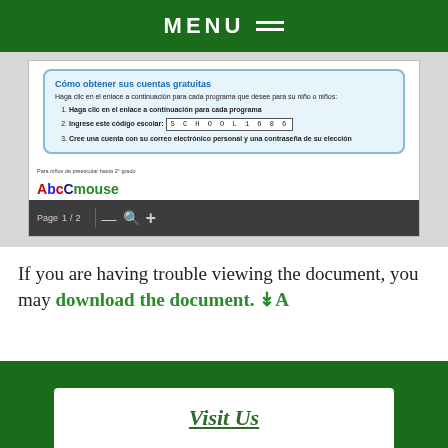MENU
[Figure (screenshot): Screenshot of a Spanish-language document viewer showing 'Cómo obtener sus cuentas gratuitas' with school code SCHOOL1686, PDF toolbar, ABCmouse logo, and caption 'Para niños de preescolar hasta 2° grado']
If you are having trouble viewing the document, you may download the document.
Visit Us